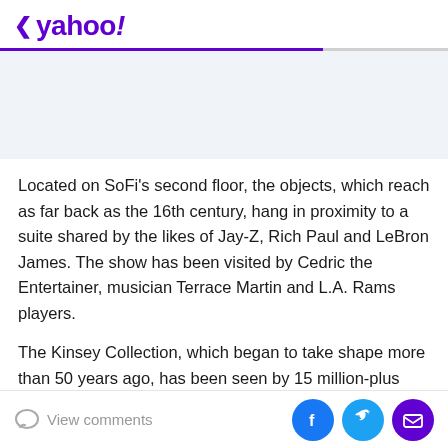< yahoo!
[Figure (other): Advertisement/banner placeholder area with light blue-gray background]
Located on SoFi's second floor, the objects, which reach as far back as the 16th century, hang in proximity to a suite shared by the likes of Jay-Z, Rich Paul and LeBron James. The show has been visited by Cedric the Entertainer, musician Terrace Martin and L.A. Rams players.
The Kinsey Collection, which began to take shape more than 50 years ago, has been seen by 15 million-plus
View comments | Facebook | Twitter | Mail